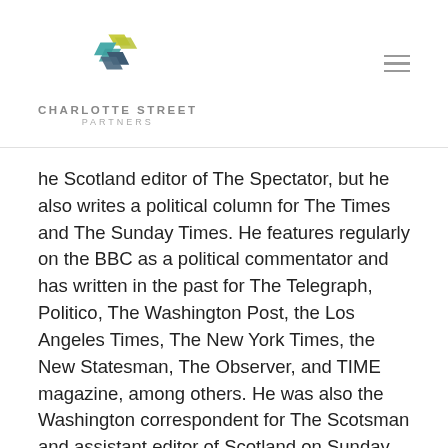[Figure (logo): Charlotte Street Partners geometric logo with overlapping colored parallelograms in yellow-green, teal, and dark blue-grey, with text 'CHARLOTTE STREET PARTNERS' below]
he Scotland editor of The Spectator, but he also writes a political column for The Times and The Sunday Times. He features regularly on the BBC as a political commentator and has written in the past for The Telegraph, Politico, The Washington Post, the Los Angeles Times, The New York Times, the New Statesman, The Observer, and TIME magazine, among others. He was also the Washington correspondent for The Scotsman and assistant editor of Scotland on Sunday.